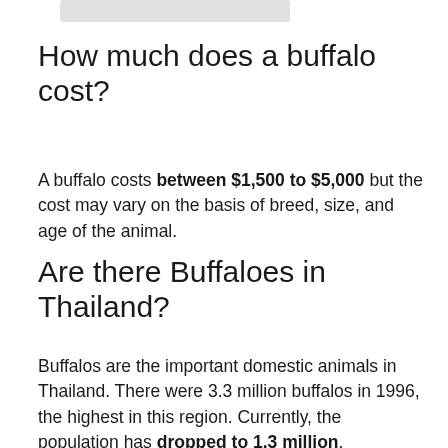How much does a buffalo cost?
A buffalo costs between $1,500 to $5,000 but the cost may vary on the basis of breed, size, and age of the animal.
Are there Buffaloes in Thailand?
Buffalos are the important domestic animals in Thailand. There were 3.3 million buffalos in 1996, the highest in this region. Currently, the population has dropped to 1.3 million.